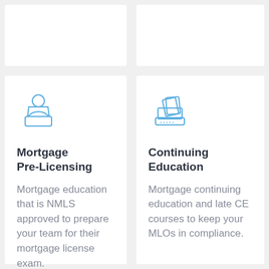[Figure (illustration): Blue outline icon of a person sitting at a laptop computer]
Mortgage Pre-Licensing
Mortgage education that is NMLS approved to prepare your team for their mortgage license exam.
[Figure (illustration): Blue outline icon of an open laptop with a document/book on top]
Continuing Education
Mortgage continuing education and late CE courses to keep your MLOs in compliance.